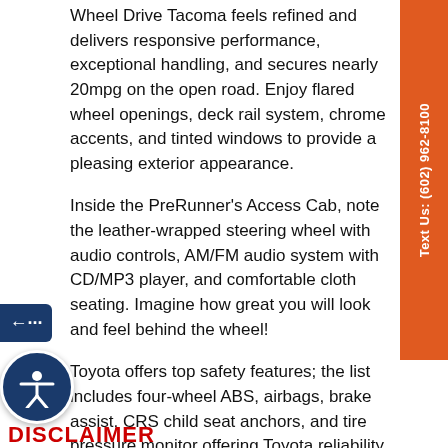Wheel Drive Tacoma feels refined and delivers responsive performance, exceptional handling, and secures nearly 20mpg on the open road. Enjoy flared wheel openings, deck rail system, chrome accents, and tinted windows to provide a pleasing exterior appearance.
Inside the PreRunner's Access Cab, note the leather-wrapped steering wheel with audio controls, AM/FM audio system with CD/MP3 player, and comfortable cloth seating. Imagine how great you will look and feel behind the wheel!
Toyota offers top safety features; the list includes four-wheel ABS, airbags, brake assist, CRS child seat anchors, and tire pressure monitor offering Toyota reliability, solid performance, and comfort are included in this head-turning Tacoma PreRunner! Save this Page and Call for Availability. We Know You Will Enjoy Your Test Drive Towards Ownership!
DISCLAIMER